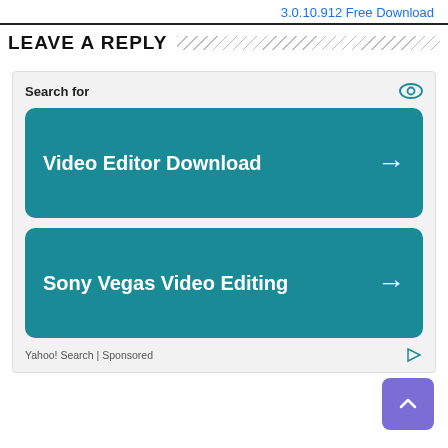3.0.10.912 Free Download
LEAVE A REPLY
[Figure (infographic): Yahoo Search sponsored ad widget with 'Search for' label and eye icon, two teal rounded-rectangle buttons: 'Video Editor Download →' and 'Sony Vegas Video Editing →', footer text 'Yahoo! Search | Sponsored' with ad icon]